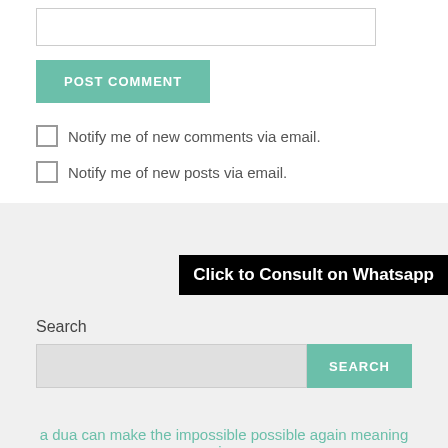[Figure (screenshot): Text input box (empty comment field)]
[Figure (screenshot): POST COMMENT button in teal/green color]
Notify me of new comments via email.
Notify me of new posts via email.
Click to Consult on Whatsapp
Search
[Figure (screenshot): Search input box with SEARCH button in teal]
a dua can make the impossible possible again meaning in